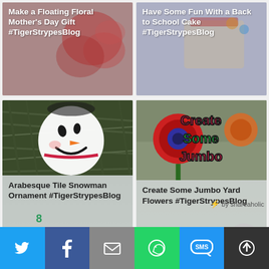[Figure (screenshot): Blog post thumbnail: Make a Floating Floral Mother's Day Gift #TigerStrypesBlog]
[Figure (screenshot): Blog post thumbnail: Have Some Fun With a Back to School Cake #TigerStrypesBlog]
[Figure (screenshot): Blog post thumbnail: Arabesque Tile Snowman Ornament #TigerStrypesBlog - snowman on pine branches]
[Figure (screenshot): Blog post thumbnail: Create Some Jumbo Yard Flowers #TigerStrypesBlog - colorful yard flowers]
by shareaholic
8
[Figure (screenshot): Social share bar with Twitter, Facebook, Email, WhatsApp, SMS, and More buttons]